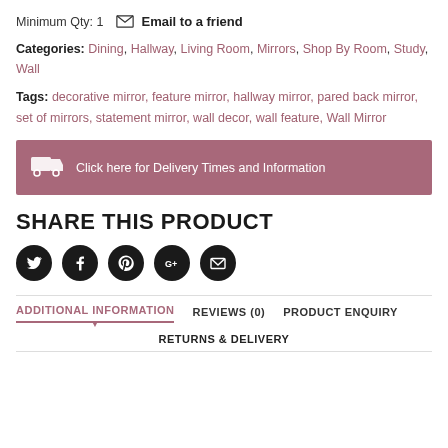Minimum Qty: 1   ✉ Email to a friend
Categories: Dining, Hallway, Living Room, Mirrors, Shop By Room, Study, Wall
Tags: decorative mirror, feature mirror, hallway mirror, pared back mirror, set of mirrors, statement mirror, wall decor, wall feature, Wall Mirror
Click here for Delivery Times and Information
SHARE THIS PRODUCT
[Figure (infographic): Five social sharing icon circles: Twitter (bird), Facebook (f), Pinterest (P), Google+ (G+), Email (envelope)]
ADDITIONAL INFORMATION   REVIEWS (0)   PRODUCT ENQUIRY
RETURNS & DELIVERY